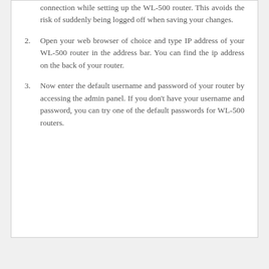connection while setting up the WL-500 router. This avoids the risk of suddenly being logged off when saving your changes.
Open your web browser of choice and type IP address of your WL-500 router in the address bar. You can find the ip address on the back of your router.
Now enter the default username and password of your router by accessing the admin panel. If you don't have your username and password, you can try one of the default passwords for WL-500 routers.